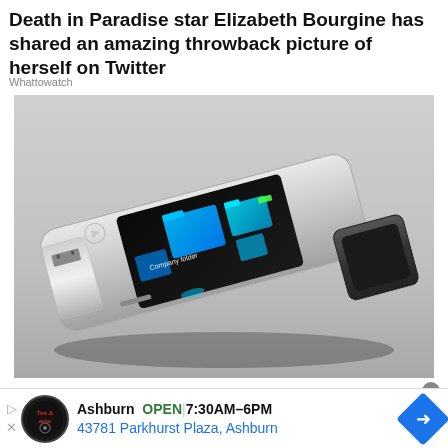Death in Paradise star Elizabeth Bourgine has shared an amazing throwback picture of herself on Twitter
Whattowatch
[Figure (photo): A concept image of a high-tech USB flash drive with a built-in touchscreen display showing a file browser interface with blue folder icons labeled 'Company folder'. The USB drive is silver/metallic with a black USB connector cap visible on the right.]
Ashburn  OPEN | 7:30AM–6PM  43781 Parkhurst Plaza, Ashburn